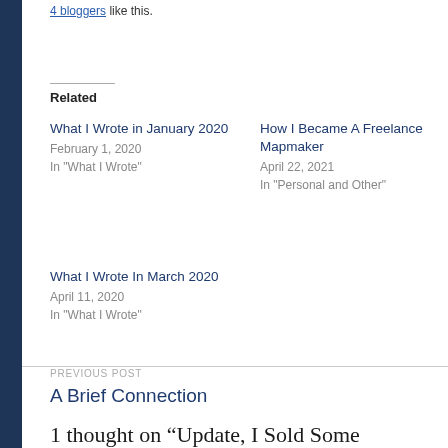4 bloggers like this.
Related
What I Wrote in January 2020
February 1, 2020
In "What I Wrote"
How I Became A Freelance Mapmaker
April 22, 2021
In "Personal and Other"
What I Wrote In March 2020
April 11, 2020
In "What I Wrote"
PREVIOUS POST
A Brief Connection
1 thought on “Update, I Sold Some